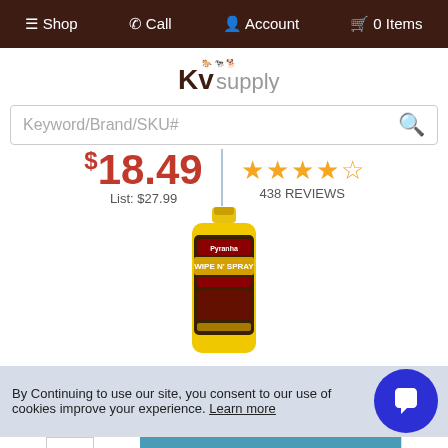Shop  Call  Account  0 Items
[Figure (logo): KV Supply logo with animal icons]
Keyword/Brand/SKU#
$18.49  List: $27.99  ★★★★☆  438 REVIEWS
[Figure (photo): Pyranha Wipe N' Spray product bottle, yellow plastic bottle]
By Continuing to use our site, you consent to our use of cookies improve your experience. Learn more
- 1 + Add to Cart ▲